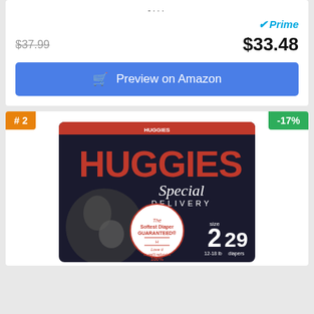-...
✓Prime
$37.99  $33.48
Preview on Amazon
# 2
-17%
[Figure (photo): Huggies Special Delivery size 2, 29 diapers, 12-18 lb. Dark package with large red HUGGIES text and a mother holding a baby. Badge reads: The Softest Diaper GUARANTEED. Love it or we'll refund it 100%.]